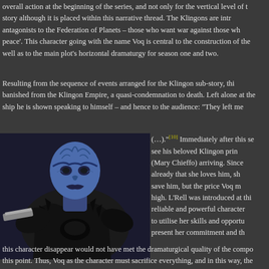overall action at the beginning of the series, and not only for the vertical level of the story although it is placed within this narrative thread. The Klingons are introduced as antagonists to the Federation of Planets – those who want war against those who want 'peace'. This character going with the name Voq is central to the construction of the … as well as to the main plot's horizontal dramaturgy for season one and two.
Resulting from the sequence of events arranged for the Klingon sub-story, this … banished from the Klingon Empire, a quasi-condemnation to death. Left alone at the … ship he is shown speaking to himself – and hence to the audience: "They left me …
[Figure (photo): Photo of a blue-skinned Klingon alien character (Voq) from Star Trek: Discovery, shown in dramatic pose wearing dark armor]
(…)."[10] Immediately after this se… see his beloved Klingon prin… (Mary Chieffo) arriving. Since … already that she loves him, sh… save him, but the price Voq m… high. L'Rell was introduced at thi… reliable and powerful character … to utilise her skills and opportu… present her commitment and th…
this character disappear would not have met the dramaturgical quality of the compo… this point.  Thus, Voq as the character must sacrifice everything, and in this way, the …